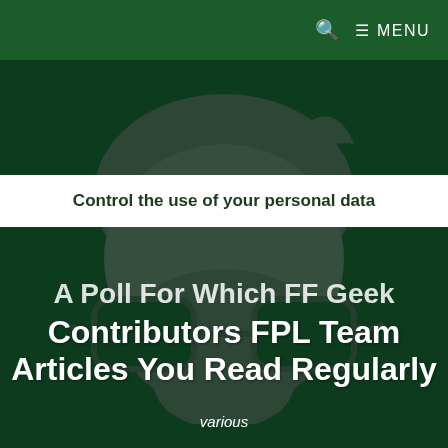🔍  ☰ MENU
[Figure (logo): Large grey illustrated face/geek logo with beard, hair, and thick-rimmed glasses on a dark green background]
Control the use of your personal data
A Poll For Which FF Geek Contributors FPL Team Articles You Read Regularly
various